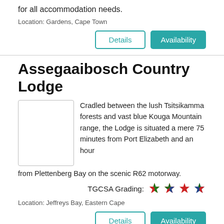for all accommodation needs.
Location: Gardens, Cape Town
Assegaaibosch Country Lodge
Cradled between the lush Tsitsikamma forests and vast blue Kouga Mountain range, the Lodge is situated a mere 75 minutes from Port Elizabeth and an hour from Plettenberg Bay on the scenic R62 motorway.
TGCSA Grading: ★★★★
Location: Jeffreys Bay, Eastern Cape
ATKV Klein-Kariba